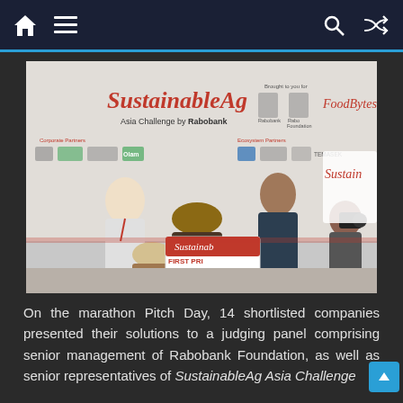Navigation bar with home, menu, search, and shuffle icons
[Figure (photo): Event photo from SustainableAg Asia Challenge by Rabobank pitch day. Two men stand in front of a branded backdrop holding oversized checks. In the foreground, audience members watch. One check reads 'FIRST PRIZE' and 'TEN THOU...' and another reads 'USD 10,000'. Sponsor logos visible on backdrop including Bayer, Olam, Temasek, FoodBytes!, Rabo Foundation.]
On the marathon Pitch Day, 14 shortlisted companies presented their solutions to a judging panel comprising senior management of Rabobank Foundation, as well as senior representatives of SustainableAg Asia Challenge